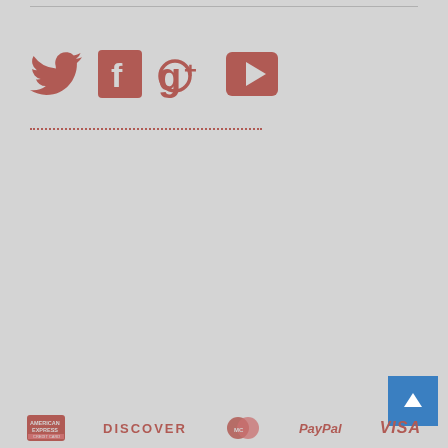[Figure (illustration): Social media icons: Twitter bird, Facebook F, Google G+, YouTube play button, all in muted rose/red color on gray background, followed by a dotted line separator]
[Figure (illustration): Scroll-to-top button: blue square with white upward chevron arrow, positioned bottom right]
[Figure (illustration): Payment method logos at bottom: American Express, Discover, Mastercard, PayPal, Visa — all in muted rose/red color]